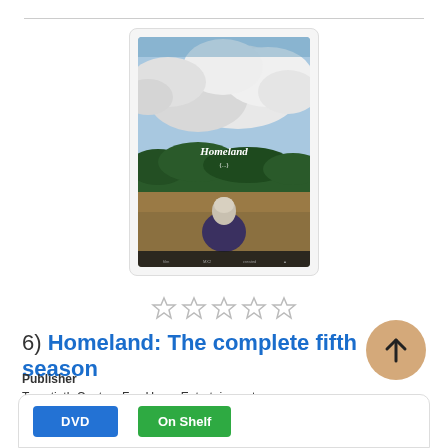[Figure (photo): Movie cover art for Homeland: The complete fifth season, showing a person sitting in a field with hills and dramatic cloudy sky in the background. Title 'Homeland' appears at top of the cover image.]
[Figure (other): Five empty/unfilled star rating icons in a row]
6) Homeland: The complete fifth season
Publisher
Twentieth Century Fox Home Entertainment
Pub. Date
[2016]
Language
English
[Figure (other): Back to top button: circular tan/beige button with upward arrow]
DVD
On Shelf